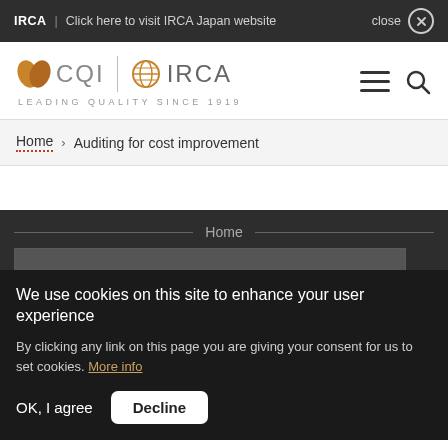IRCA | Click here to visit IRCA Japan website close
[Figure (logo): CQI | IRCA logo with tagline LEADING QUALITY SINCE 1919]
Home > Auditing for cost improvement
Home
We use cookies on this site to enhance your user experience
By clicking any link on this page you are giving your consent for us to set cookies. More info
OK, I agree   Decline